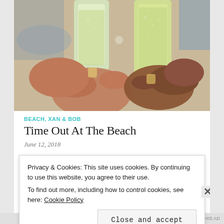[Figure (photo): Two hands clinking champagne flutes filled with sparkling wine/champagne, close-up shot outdoors near a beach setting]
BEACH, XAN & BOB
Time Out At The Beach
June 12, 2018
Privacy & Cookies: This site uses cookies. By continuing to use this website, you agree to their use.
To find out more, including how to control cookies, see here: Cookie Policy
Close and accept